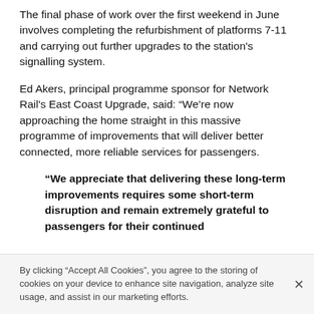The final phase of work over the first weekend in June involves completing the refurbishment of platforms 7-11 and carrying out further upgrades to the station's signalling system.
Ed Akers, principal programme sponsor for Network Rail's East Coast Upgrade, said: “We’re now approaching the home straight in this massive programme of improvements that will deliver better connected, more reliable services for passengers.
“We appreciate that delivering these long-term improvements requires some short-term disruption and remain extremely grateful to passengers for their continued
By clicking “Accept All Cookies”, you agree to the storing of cookies on your device to enhance site navigation, analyze site usage, and assist in our marketing efforts.